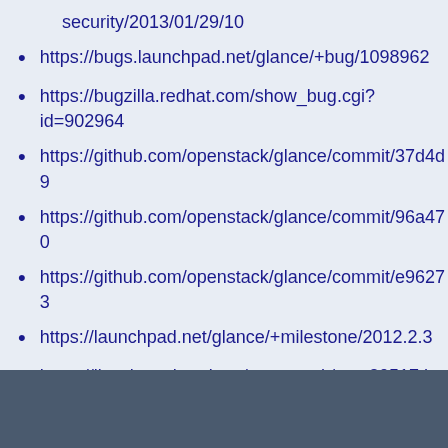security/2013/01/29/10
https://bugs.launchpad.net/glance/+bug/1098962
https://bugzilla.redhat.com/show_bug.cgi?id=902964
https://github.com/openstack/glance/commit/37d4d9
https://github.com/openstack/glance/commit/96a470
https://github.com/openstack/glance/commit/e96273
https://launchpad.net/glance/+milestone/2012.2.3
https://lists.launchpad.net/openstack/msg20517.html